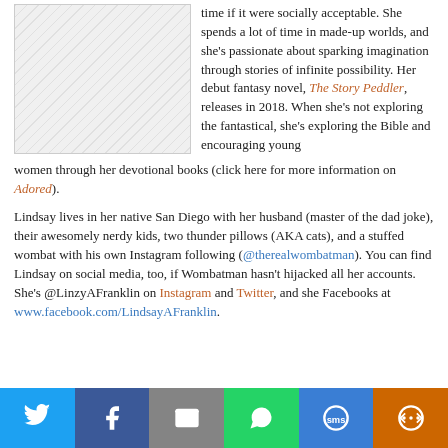[Figure (illustration): Author photo placeholder with diagonal hatching pattern]
time if it were socially acceptable. She spends a lot of time in made-up worlds, and she's passionate about sparking imagination through stories of infinite possibility. Her debut fantasy novel, The Story Peddler, releases in 2018. When she's not exploring the fantastical, she's exploring the Bible and encouraging young women through her devotional books (click here for more information on Adored).
Lindsay lives in her native San Diego with her husband (master of the dad joke), their awesomely nerdy kids, two thunder pillows (AKA cats), and a stuffed wombat with his own Instagram following (@therealwombatman). You can find Lindsay on social media, too, if Wombatman hasn't hijacked all her accounts. She's @LinzyAFranklin on Instagram and Twitter, and she Facebooks at www.facebook.com/LindsayAFranklin.
[Figure (infographic): Social sharing bar with Twitter, Facebook, Email, WhatsApp, SMS, and More buttons]